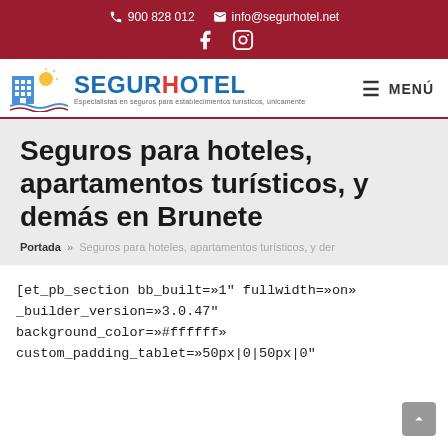900 828 012  info@segurhotel.net  [Facebook] [Instagram]
[Figure (logo): Segurhotel logo with building icon and tagline: Especialistas en seguros para establecimientos turísticos, únicamente]
Seguros para hoteles, apartamentos turísticos, y demás en Brunete
Portada » Seguros para hoteles, apartamentos turísticos, y der
[et_pb_section bb_built=»1" fullwidth=»on» _builder_version=»3.0.47" background_color=»#ffffff» custom_padding_tablet=»50px|0|50px|0"